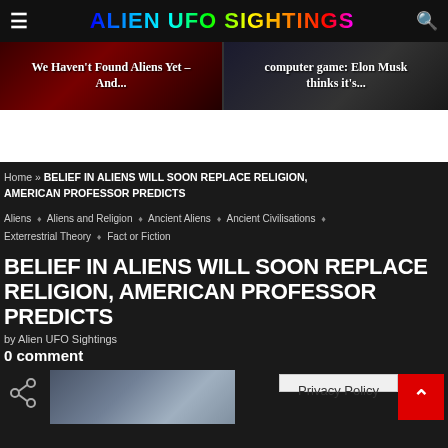ALIEN UFO SIGHTINGS
[Figure (screenshot): Two promo/slider images: left shows 'We Haven't Found Aliens Yet – And...' on dark red background, right shows 'computer game: Elon Musk thinks it's...' on dark background]
Home » BELIEF IN ALIENS WILL SOON REPLACE RELIGION, AMERICAN PROFESSOR PREDICTS
Aliens ◆ Aliens and Religion ◆ Ancient Aliens ◆ Ancient Civilisations ◆ Exterrestrial Theory ◆ Fact or Fiction
BELIEF IN ALIENS WILL SOON REPLACE RELIGION, AMERICAN PROFESSOR PREDICTS
by Alien UFO Sightings
0 comment
[Figure (photo): Article thumbnail image showing a blurred face, partial view]